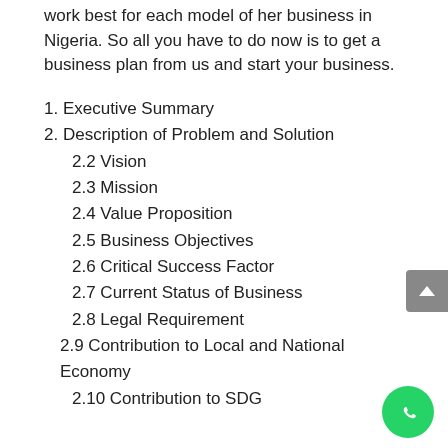work best for each model of her business in Nigeria. So all you have to do now is to get a business plan from us and start your business.
1. Executive Summary
2. Description of Problem and Solution
2.2 Vision
2.3 Mission
2.4 Value Proposition
2.5 Business Objectives
2.6 Critical Success Factor
2.7 Current Status of Business
2.8 Legal Requirement
2.9 Contribution to Local and National Economy
2.10 Contribution to SDG